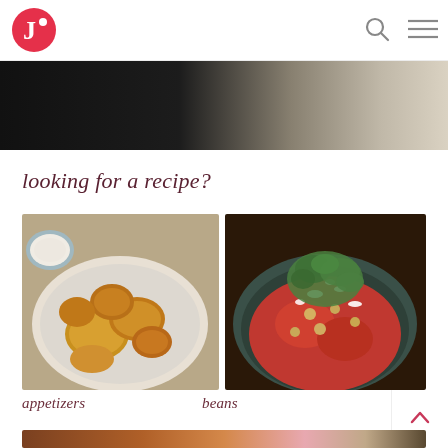J· [logo] [search icon] [menu icon]
[Figure (photo): Dark food photography hero image strip, partial view at top of page]
looking for a recipe?
[Figure (photo): Fried cauliflower bites on a white plate with dipping sauce, category: appetizers]
[Figure (photo): Chickpea and tomato stew topped with feta and fresh cilantro in a dark bowl, category: beans]
appetizers
beans
[Figure (photo): Partial view of bottom food category images, bottom of page]